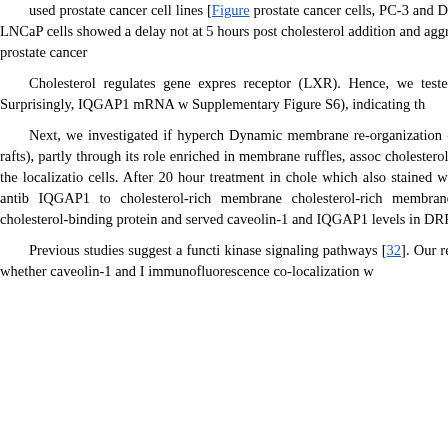used prostate cancer cell lines [Figure prostate cancer cells, PC-3 and DU14 negative LNCaP cells showed a delay not at 5 hours post cholesterol addition and aggressiveness of prostate cancer
Cholesterol regulates gene expres- receptor (LXR). Hence, we tested the qPCR. Surprisingly, IQGAP1 mRNA w Supplementary Figure S6), indicating th
Next, we investigated if hyperch Dynamic membrane re-organization o called lipid rafts), partly through its role enriched in membrane ruffles, assoc cholesterol treatment on the localizatio cells. After 20 hour treatment in chole which also stained with filipin, an antib IQGAP1 to cholesterol-rich membrane cholesterol-rich membranes, previousl cholesterol-binding protein and served caveolin-1 and IQGAP1 levels in DRF v
Previous studies suggest a functi kinase signaling pathways [32]. Our res is not clear whether caveolin-1 and I immunofluorescence co-localization w